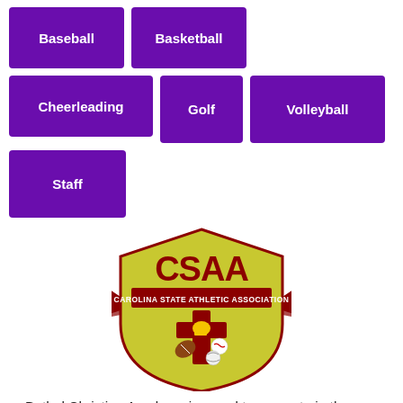Baseball
Basketball
Cheerleading
Golf
Volleyball
Staff
[Figure (logo): CSAA - Carolina State Athletic Association shield logo with cross and sports equipment]
Bethel Christian Academy is proud to compete in the Carolina State Athletic Association. BCA strives for its athletes to maintain good sportsmanship in athletics. Athletes should be aware that participation in sports is a